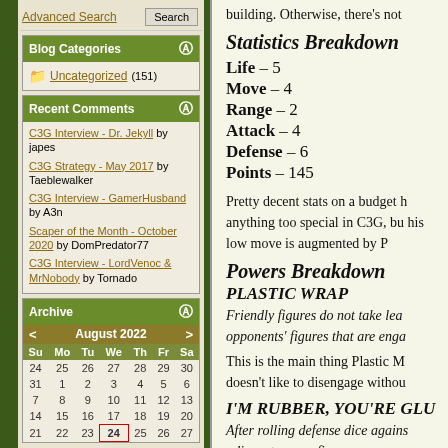building. Otherwise, there's not
Statistics Breakdown
Life – 5
Move – 4
Range – 2
Attack – 4
Defense – 6
Points – 145
Pretty decent stats on a budget h anything too special in C3G, bu his low move is augmented by P
Powers Breakdown
PLASTIC WRAP
Friendly figures do not take lea opponents' figures that are enga
This is the main thing Plastic M doesn't like to disengage withou
I'M RUBBER, YOU'RE GLU
After rolling defense dice agains adjacent enemy figure, you may
Advanced Search
Blog Categories
Uncategorized (151)
Recent Comments
C3G Interview - Dr. Jekyll by japes
C3G Strategy - May 2017 by Taeblewalker
C3G Interview - GamerHusband by A3n
Scaper of the Month - October 2020 by DomPredator77
C3G Interview - LordVenoc & MrNobody by Tornado
Archive
| Su | Mo | Tu | We | Th | Fr | Sa |
| --- | --- | --- | --- | --- | --- | --- |
| 24 | 25 | 26 | 27 | 28 | 29 | 30 |
| 31 | 1 | 2 | 3 | 4 | 5 | 6 |
| 7 | 8 | 9 | 10 | 11 | 12 | 13 |
| 14 | 15 | 16 | 17 | 18 | 19 | 20 |
| 21 | 22 | 23 | 24 | 25 | 26 | 27 |